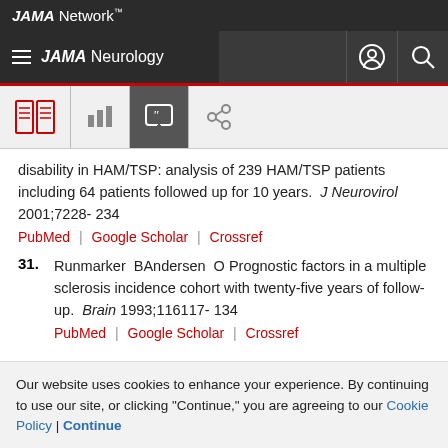JAMA Network
JAMA Neurology
disability in HAM/TSP: analysis of 239 HAM/TSP patients including 64 patients followed up for 10 years. J Neurovirol 2001;7228- 234
PubMed | Google Scholar | Crossref
31. Runmarker BAndersen O Prognostic factors in a multiple sclerosis incidence cohort with twenty-five years of follow-up. Brain 1993;116117- 134
PubMed | Google Scholar | Crossref
Our website uses cookies to enhance your experience. By continuing to use our site, or clicking "Continue," you are agreeing to our Cookie Policy | Continue